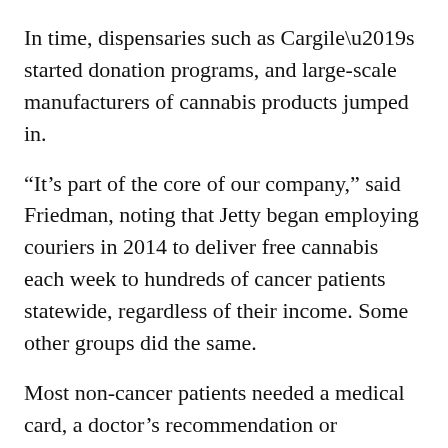In time, dispensaries such as Cargile’s started donation programs, and large-scale manufacturers of cannabis products jumped in.
“It’s part of the core of our company,” said Friedman, noting that Jetty began employing couriers in 2014 to deliver free cannabis each week to hundreds of cancer patients statewide, regardless of their income. Some other groups did the same.
Most non-cancer patients needed a medical card, a doctor’s recommendation or diagnosis and proof of low income to qualify for free cannabis.
The San Francisco Bay Area was a hotbed of such compassion programs, especially in neighborhoods where the bank accounts of HIV and AIDS patients had been decimated by medical costs.
Sweetleaf founder Joe Airone told of patients who said they would have died without the cannabis, which for many not only relieved pain but also restored appetites